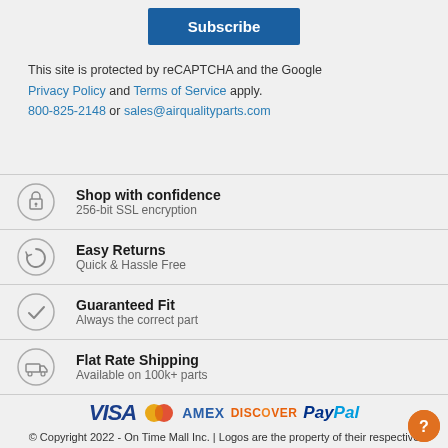Subscribe
This site is protected by reCAPTCHA and the Google Privacy Policy and Terms of Service apply. 800-825-2148 or sales@airqualityparts.com
Shop with confidence — 256-bit SSL encryption
Easy Returns — Quick & Hassle Free
Guaranteed Fit — Always the correct part
Flat Rate Shipping — Available on 100k+ parts
[Figure (logo): Payment logos: VISA, Mastercard, AMEX, DISCOVER, PayPal]
© Copyright 2022 - On Time Mall Inc. | Logos are the property of their respective holders.
Privacy & Legal